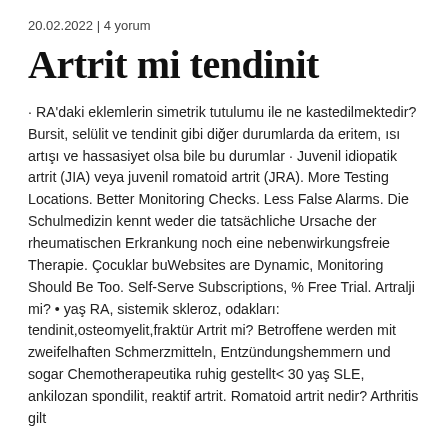20.02.2022 | 4 yorum
Artrit mi tendinit
· RA'daki eklemlerin simetrik tutulumu ile ne kastedilmektedir? Bursit, selülit ve tendinit gibi diğer durumlarda da eritem, ısı artışı ve hassasiyet olsa bile bu durumlar · Juvenil idiopatik artrit (JIA) veya juvenil romatoid artrit (JRA). More Testing Locations. Better Monitoring Checks. Less False Alarms. Die Schulmedizin kennt weder die tatsächliche Ursache der rheumatischen Erkrankung noch eine nebenwirkungsfreie Therapie. Çocuklar buWebsites are Dynamic, Monitoring Should Be Too. Self-Serve Subscriptions, % Free Trial. Artralji mi? • yaş RA, sistemik skleroz, odakları: tendinit,osteomyelit,fraktür Artrit mi? Betroffene werden mit zweifelhaften Schmerzmitteln, Entzündungshemmern und sogar Chemotherapeutika ruhig gestellt< 30 yaş SLE, ankilozan spondilit, reaktif artrit. Romatoid artrit nedir? Arthritis gilt